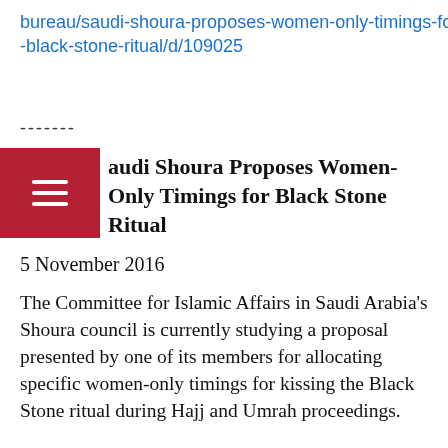bureau/saudi-shoura-proposes-women-only-timings-for-black-stone-ritual/d/109025
-------
Saudi Shoura Proposes Women-Only Timings for Black Stone Ritual
5 November 2016
The Committee for Islamic Affairs in Saudi Arabia’s Shoura council is currently studying a proposal presented by one of its members for allocating specific women-only timings for kissing the Black Stone ritual during Hajj and Umrah proceedings.
The proposal put forth by Modhi Aldeghaither includes setting three specific times during the day for a period of two hours and to allow...